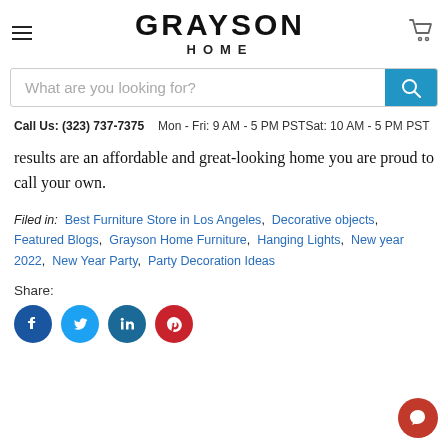GRAYSON HOME
What are you looking for?
Call Us: (323) 737-7375   Mon - Fri: 9 AM - 5 PM PSTSat: 10 AM - 5 PM PST
results are an affordable and great-looking home you are proud to call your own.
Filed in:  Best Furniture Store in Los Angeles,  Decorative objects,  Featured Blogs,  Grayson Home Furniture,  Hanging Lights,  New year 2022,  New Year Party,  Party Decoration Ideas
Share:
[Figure (other): Social share icons: Facebook, Twitter, LinkedIn, Pinterest]